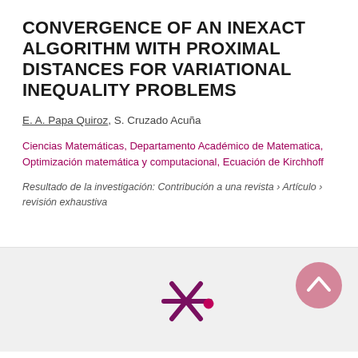CONVERGENCE OF AN INEXACT ALGORITHM WITH PROXIMAL DISTANCES FOR VARIATIONAL INEQUALITY PROBLEMS
E. A. Papa Quiroz, S. Cruzado Acuña
Ciencias Matemáticas, Departamento Académico de Matematica, Optimización matemática y computacional, Ecuación de Kirchhoff
Resultado de la investigación: Contribución a una revista › Artículo › revisión exhaustiva
[Figure (logo): Purple asterisk/snowflake logo with a small magenta circle at center-right]
[Figure (other): Pink circular scroll-to-top button with upward chevron arrow]